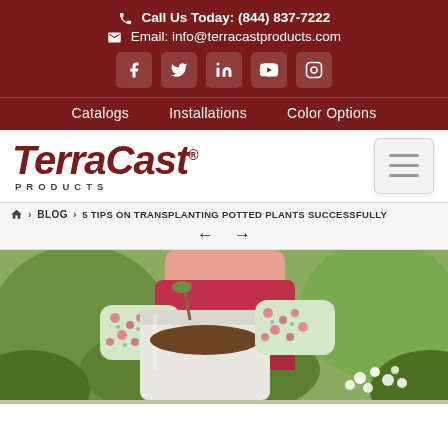Call Us Today: (844) 837-7222 | Email: info@terracastproducts.com
[Figure (screenshot): Social media icons: Facebook, Twitter, LinkedIn, YouTube, Instagram on dark red background]
Catalogs   Installations   Color Options
[Figure (logo): TerraCast Products logo in dark red italic serif font with PRODUCTS in small caps below]
Breadcrumb: Home > BLOG > 5 TIPS ON TRANSPLANTING POTTED PLANTS SUCCESSFULLY
[Figure (photo): Person wearing floral gardening gloves transplanting a plant from a white pot, outdoors with greenery background]